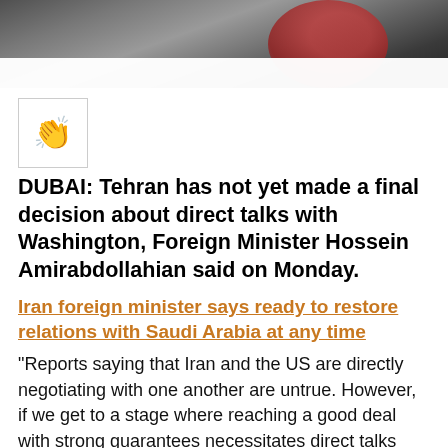[Figure (photo): Photo of a person in a dark suit, partially visible, upper portion of the image cropped]
[Figure (illustration): Clapping hands emoji icon inside a small bordered box]
DUBAI: Tehran has not yet made a final decision about direct talks with Washington, Foreign Minister Hossein Amirabdollahian said on Monday.
Iran foreign minister says ready to restore relations with Saudi Arabia at any time
"Reports saying that Iran and the US are directly negotiating with one another are untrue. However, if we get to a stage where reaching a good deal with strong guarantees necessitates direct talks with the US, we will consider it," he said at a news conference in Tehran.